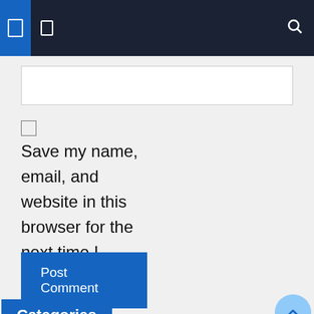Navigation bar with icons
[Figure (screenshot): Text input field (empty, white background with border)]
Save my name, email, and website in this browser for the next time I comment.
Post Comment
Categories
Concert venue